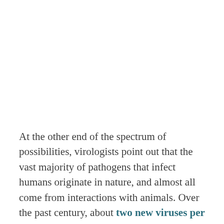At the other end of the spectrum of possibilities, virologists point out that the vast majority of pathogens that infect humans originate in nature, and almost all come from interactions with animals. Over the past century, about two new viruses per year have been discovered in humans, most of